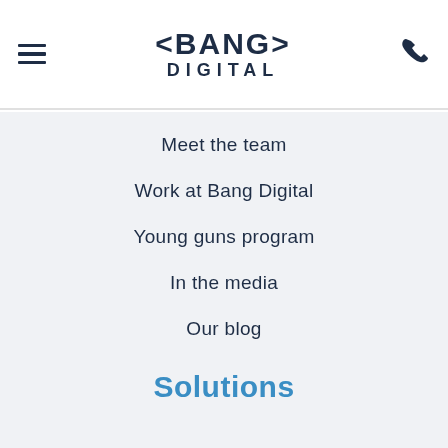< BANG > DIGITAL
Meet the team
Work at Bang Digital
Young guns program
In the media
Our blog
Case studies
Solutions